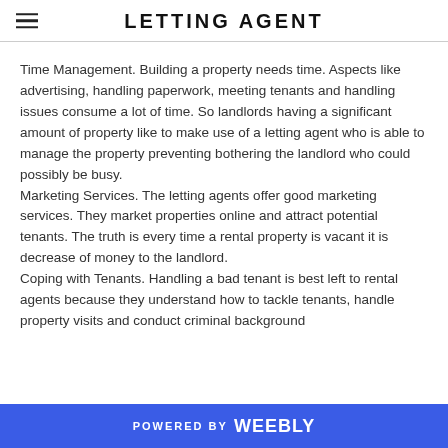LETTING AGENT
Time Management. Building a property needs time. Aspects like advertising, handling paperwork, meeting tenants and handling issues consume a lot of time. So landlords having a significant amount of property like to make use of a letting agent who is able to manage the property preventing bothering the landlord who could possibly be busy. Marketing Services. The letting agents offer good marketing services. They market properties online and attract potential tenants. The truth is every time a rental property is vacant it is decrease of money to the landlord. Coping with Tenants. Handling a bad tenant is best left to rental agents because they understand how to tackle tenants, handle property visits and conduct criminal background
POWERED BY weebly